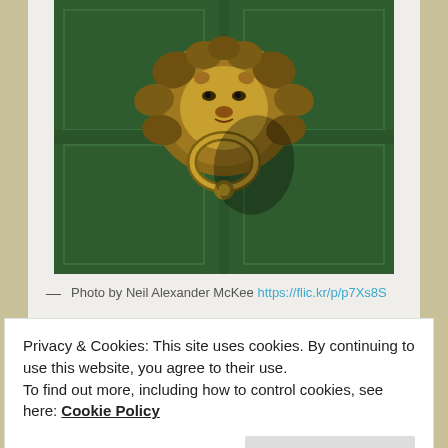[Figure (photo): A brass lion-head door knocker mounted on a dark green painted wooden door. The knocker features a detailed lion face with a heavy ring hanging from its mouth.]
— Photo by Neil Alexander McKee https://flic.kr/p/p7Xs8S
Privacy & Cookies: This site uses cookies. By continuing to use this website, you agree to their use.
To find out more, including how to control cookies, see here: Cookie Policy
Close and accept
choice is always a top ten. This one is actually serious